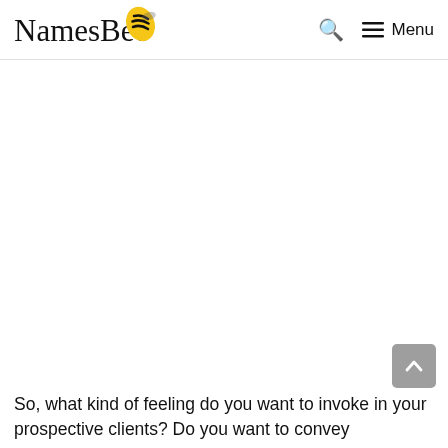NamesBee — Menu
[Figure (other): Advertisement / blank white area below the header navigation]
So, what kind of feeling do you want to invoke in your prospective clients? Do you want to convey